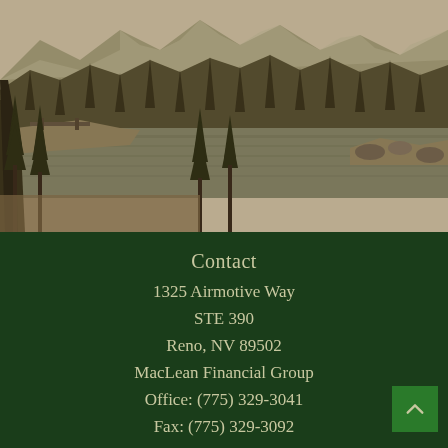[Figure (photo): Sepia-toned landscape photograph showing a mountain lake scene with pine/fir trees in the foreground and background, a calm lake reflecting the surroundings, and rocky shores. Mountains visible in the background. Winter or early spring scene with light snow.]
Contact
1325 Airmotive Way
STE 390
Reno, NV 89502
MacLean Financial Group
Office: (775) 329-3041
Fax: (775) 329-3092